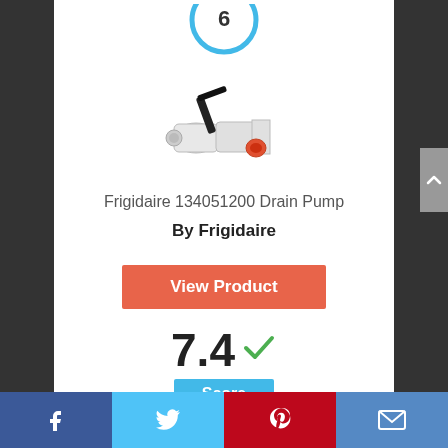[Figure (other): Partial blue circle score indicator showing number at top, cropped at top edge]
[Figure (photo): Frigidaire 134051200 Drain Pump product photo - white and black pump with red cap]
Frigidaire 134051200 Drain Pump
By Frigidaire
View Product
7.4 Score
Facebook | Twitter | Pinterest | Email